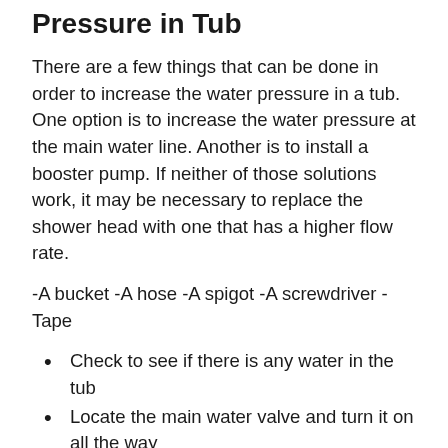Pressure in Tub
There are a few things that can be done in order to increase the water pressure in a tub. One option is to increase the water pressure at the main water line. Another is to install a booster pump. If neither of those solutions work, it may be necessary to replace the shower head with one that has a higher flow rate.
-A bucket -A hose -A spigot -A screwdriver -Tape
Check to see if there is any water in the tub
Locate the main water valve and turn it on all the way
Check to make sure that the water pressure is not turned off completely on the wall